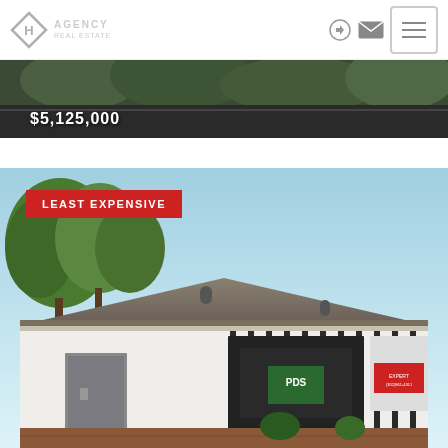Real estate agency website header with logo, login icon, mail icon, and hamburger menu
[Figure (photo): Partial view of a property listing image showing trees and a dark building with price $5,125,000 overlaid]
[Figure (photo): Property listing photo of a one-story commercial building with striped siding, gray roof, gray door, signs on windows, trees in background, blue sky. Badge reads LEAST EXPENSIVE]